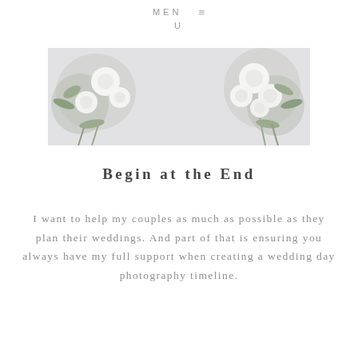MENU
[Figure (photo): Top-down photo of white floral bouquets on a light gray background, flowers visible in left and right portions of a wide horizontal strip]
Begin at the End
I want to help my couples as much as possible as they plan their weddings. And part of that is ensuring you always have my full support when creating a wedding day photography timeline.